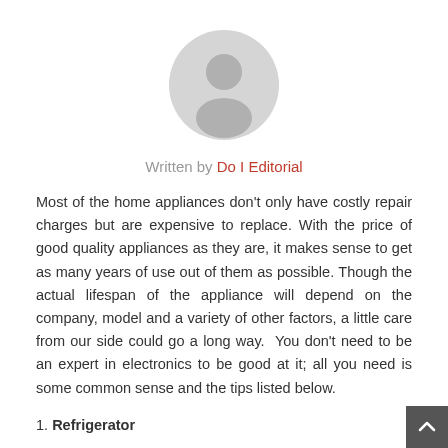[Figure (illustration): Circular grey placeholder avatar with a generic person silhouette icon, centered at the top of the page]
Written by Do I Editorial
Most of the home appliances don't only have costly repair charges but are expensive to replace. With the price of good quality appliances as they are, it makes sense to get as many years of use out of them as possible. Though the actual lifespan of the appliance will depend on the company, model and a variety of other factors, a little care from our side could go a long way.  You don't need to be an expert in electronics to be good at it; all you need is some common sense and the tips listed below.
1. Refrigerator